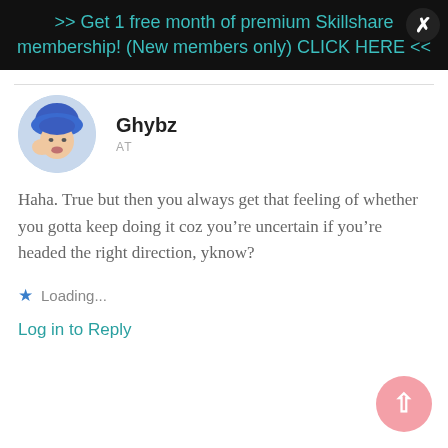>> Get 1 free month of premium Skillshare membership! (New members only) CLICK HERE <<
[Figure (photo): Round avatar photo of user Ghybz showing a person with blue hair]
Ghybz
AT
Haha. True but then you always get that feeling of whether you gotta keep doing it coz you’re uncertain if you’re headed the right direction, yknow?
Loading...
Log in to Reply